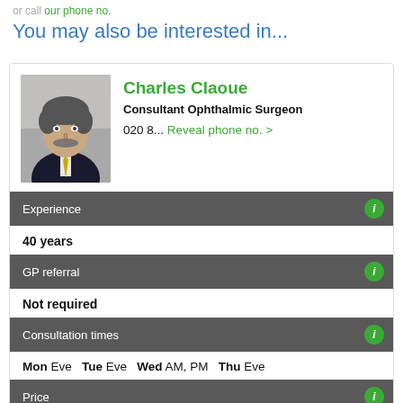or call our phone no.
You may also be interested in...
[Figure (photo): Headshot photo of Charles Claoue, a middle-aged man in a dark suit with a yellow tie, grey background]
Charles Claoue
Consultant Ophthalmic Surgeon
020 8... Reveal phone no. >
Experience  (i)
40 years
GP referral  (i)
Not required
Consultation times  (i)
Mon Eve  Tue Eve  Wed AM, PM  Thu Eve
Price  (i)